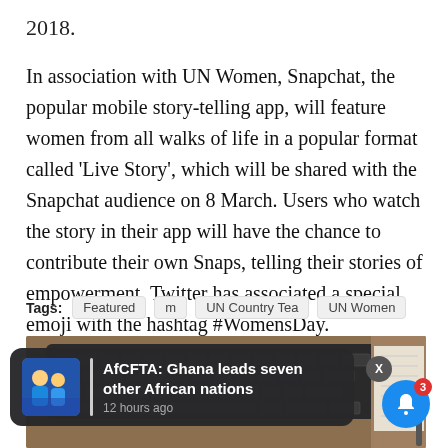2018.
In association with UN Women, Snapchat, the popular mobile story-telling app, will feature women from all walks of life in a popular format called ‘Live Story’, which will be shared with the Snapchat audience on 8 March. Users who watch the story in their app will have the chance to contribute their own Snaps, telling their stories of empowerment. Twitter has associated a special emoji with the hashtag #WomensDay.
Tags: Featured  m  UN Country Tea  UN Women
[Figure (photo): Laptop keyboard and notebook on wooden desk background]
AfCFTA: Ghana leads seven other African nations
12 hours ago